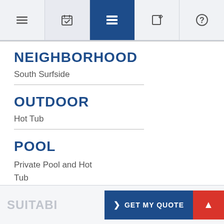Navigation bar with icons: menu, calendar, list (active), edit, help
NEIGHBORHOOD
South Surfside
OUTDOOR
Hot Tub
POOL
Private Pool and Hot Tub
SUITABI... ❯ GET MY QUOTE  ▲